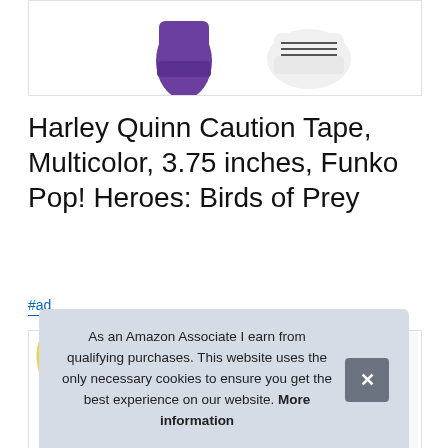[Figure (photo): Partial product photo showing purple boot and sneaker shoe at top of page]
Harley Quinn Caution Tape, Multicolor, 3.75 inches, Funko Pop! Heroes: Birds of Prey
#ad
[Figure (photo): Three thumbnail product images: Harley Quinn figure head with pigtails, Funko Pop box for Birds of Prey #302, and partial third image]
As an Amazon Associate I earn from qualifying purchases. This website uses the only necessary cookies to ensure you get the best experience on our website. More information